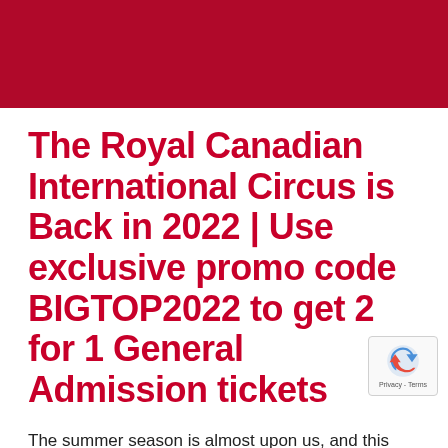[Figure (other): Dark red/crimson header banner bar at the top of the page]
The Royal Canadian International Circus is Back in 2022 | Use exclusive promo code BIGTOP2022 to get 2 for 1 General Admission tickets
The summer season is almost upon us, and this